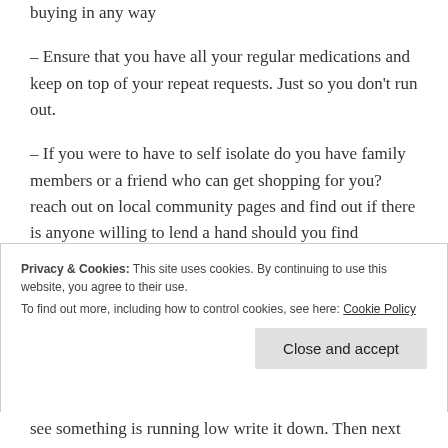buying in any way
– Ensure that you have all your regular medications and keep on top of your repeat requests. Just so you don't run out.
– If you were to have to self isolate do you have family members or a friend who can get shopping for you? reach out on local community pages and find out if there is anyone willing to lend a hand should you find yourself in this position and you have no close friends
Privacy & Cookies: This site uses cookies. By continuing to use this website, you agree to their use. To find out more, including how to control cookies, see here: Cookie Policy
Close and accept
see something is running low write it down. Then next